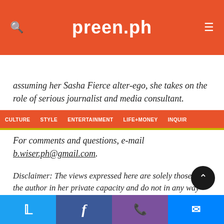preen.ph
CULTURE | STYLE | ENTERTAINMENT | LIFE+MONEY | INQUIR
assuming her Sasha Fierce alter-ego, she takes on the role of serious journalist and media consultant.
For comments and questions, e-mail b.wiser.ph@gmail.com.
Disclaimer: The views expressed here are solely those of the author in her private capacity and do not in any way represent the views of Preen.ph, or any other entity of the Inquirer Group of Companies.
Twitter | Facebook | Viber | Messenger